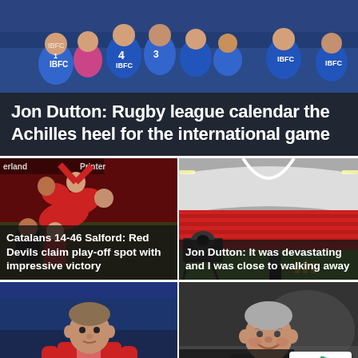[Figure (photo): Rugby league players in blue IBFC jerseys huddled together on the pitch]
Jon Dutton: Rugby league calendar the Achilles heel for the international game
[Figure (photo): Catalans vs Salford Red Devils rugby match, players celebrating]
Catalans 14-46 Salford: Red Devils claim play-off spot with impressive victory
[Figure (photo): Wembley stadium with TV camera and Jon Dutton standing on the pitch]
Jon Dutton: It was devastating and I was close to walking away
[Figure (photo): Danny McGuire in red and white rugby kit]
Danny McGuire explains
[Figure (photo): Kristian Woolf smiling, portrait outdoors]
Kristian Woolf explains Will Hopoate